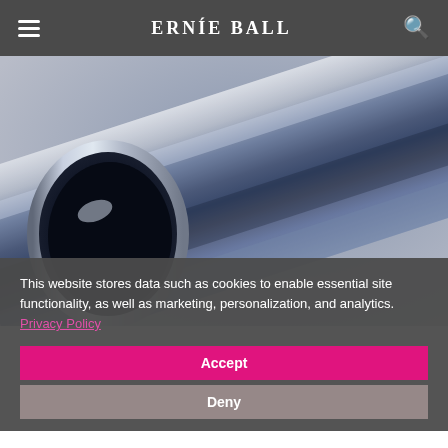Ernie Ball navigation header with hamburger menu, logo, and search icon
[Figure (photo): A metallic chrome/steel slide tube (guitar slide) photographed on a white/gray background, shown at an angle with the hollow opening visible on the left. The cylinder is highly reflective with a blue-gray metallic sheen.]
This website stores data such as cookies to enable essential site functionality, as well as marketing, personalization, and analytics. Privacy Policy
Accept
Deny